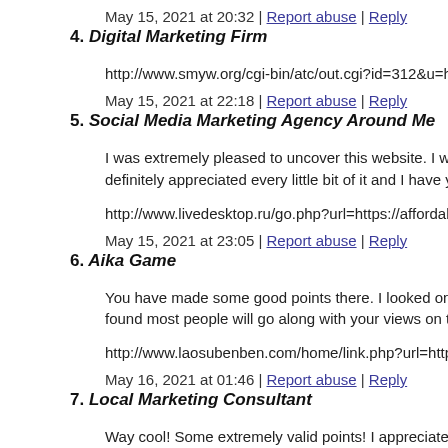May 15, 2021 at 20:32 | Report abuse | Reply
4. Digital Marketing Firm
http://www.smyw.org/cgi-bin/atc/out.cgi?id=312&u=http://ww
May 15, 2021 at 22:18 | Report abuse | Reply
5. Social Media Marketing Agency Around Me
I was extremely pleased to uncover this website. I wanted to th definitely appreciated every little bit of it and I have you book
http://www.livedesktop.ru/go.php?url=https://affordablerankin
May 15, 2021 at 23:05 | Report abuse | Reply
6. Aika Game
You have made some good points there. I looked on the interne found most people will go along with your views on this webs
http://www.laosubenben.com/home/link.php?url=https://www.
May 16, 2021 at 01:46 | Report abuse | Reply
7. Local Marketing Consultant
Way cool! Some extremely valid points! I appreciate you penn